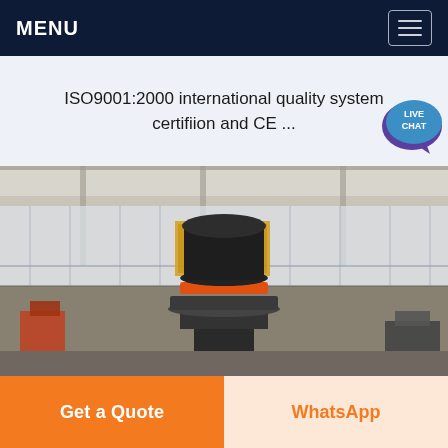MENU
ISO9001:2000 international quality system certifiion and CE ...
[Figure (photo): Industrial cone crusher machine displayed inside a large factory warehouse with high ceilings and glass windows. The crusher is mounted on a central pedestal, with various other mining/crushing equipment visible in the background.]
Get a Quote
WhatsApp